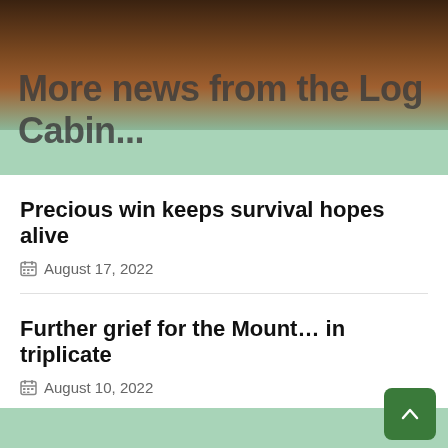More news from the Log Cabin...
Precious win keeps survival hopes alive
August 17, 2022
Further grief for the Mount... in triplicate
August 10, 2022